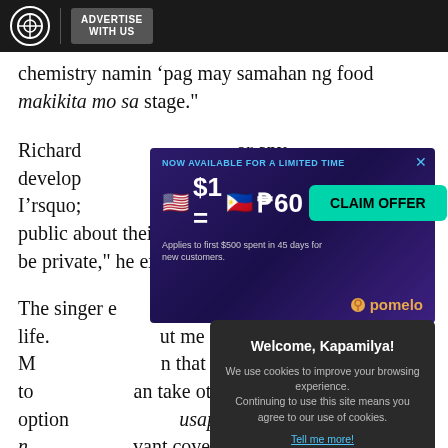ABS-CBN | ADVERTISE WITH US
chemistry namin ‘pag may samahan ng food makikita mo sa stage."
[Figure (infographic): Advertisement banner: NOW AVAILABLE FOR A LIMITED TIME. $1 = P60. CLAIM OFFER. Applies to first $500 spent in 45 days for new customers. Pomelo logo.]
Richard [blank] or any development [blank] st think I’rsquo; [blank] s who would like to be public about their love life pero it’rsquo;s nice to be private," he explained.
[Figure (screenshot): Cookie consent modal: Welcome, Kapamilya! We use cookies to improve your browsing experience. Continuing to use this site means you agree to our use of cookies. Tell me more! I AGREE!]
The singer e[blank]num about his love-life. [blank]ut me and Maricar]. M[blank]n that press con I had to[blank]an take other option[blank]’usapan hanggang n[blank]’ant coverage on that. Ako naman I’rsquo;d like to take another route na parang I know some friends in the industry. Ako